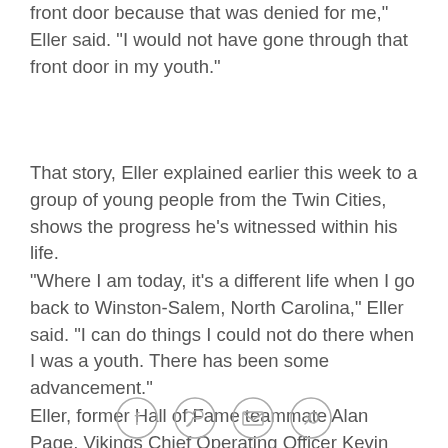front door because that was denied for me," Eller said. "I would not have gone through that front door in my youth."
That story, Eller explained earlier this week to a group of young people from the Twin Cities, shows the progress he's witnessed within his life.
"Where I am today, it's a different life when I go back to Winston-Salem, North Carolina," Eller said. "I can do things I could not do there when I was a youth. There has been some advancement."
Eller, former Hall of Fame teammate Alan Page, Vikings Chief Operating Officer Kevin Warren, Vikings Director of Food Service Geji McKinney-Banks, Vikings Youth Football Manager E.J. Henderson, tackle Phil Loadholt
[Figure (other): Social sharing icons: Facebook, Twitter, email, link]